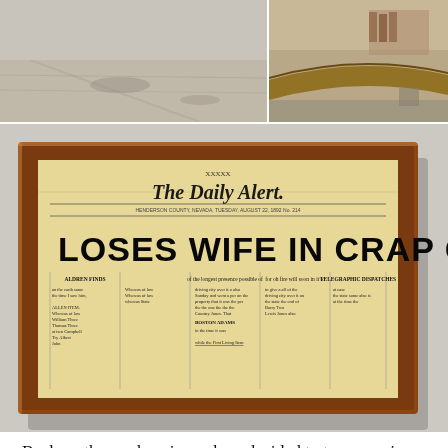[Figure (photo): Top-left photo: dirt road or gravel surface with some scuff marks]
[Figure (photo): Top-right photo: interior of a building or boat/vessel with wooden curved furniture]
[Figure (photo): Large center photo: framed antique newspaper front page of 'The Daily Alert' with large headline 'LOSES WIFE IN CRAP GAME', displayed in a wooden frame mounted on a light gray wall]
Back on the road again, and we decided to try a scenic byway for part of the trip, beginning in the town of Hebron.